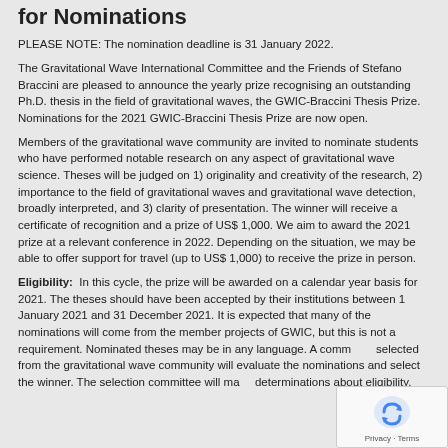for Nominations
PLEASE NOTE: The nomination deadline is 31 January 2022.
The Gravitational Wave International Committee and the Friends of Stefano Braccini are pleased to announce the yearly prize recognising an outstanding Ph.D. thesis in the field of gravitational waves, the GWIC-Braccini Thesis Prize.  Nominations for the 2021 GWIC-Braccini Thesis Prize are now open.
Members of the gravitational wave community are invited to nominate students who have performed notable research on any aspect of gravitational wave science. Theses will be judged on 1) originality and creativity of the research, 2) importance to the field of gravitational waves and gravitational wave detection, broadly interpreted, and 3) clarity of presentation. The winner will receive a certificate of recognition and a prize of US$ 1,000. We aim to award the 2021 prize at a relevant conference in 2022. Depending on the situation, we may be able to offer support for travel (up to US$ 1,000) to receive the prize in person.
Eligibility:  In this cycle, the prize will be awarded on a calendar year basis for 2021. The theses should have been accepted by their institutions between 1 January 2021 and 31 December 2021. It is expected that many of the nominations will come from the member projects of GWIC, but this is not a requirement. Nominated theses may be in any language. A committee selected from the gravitational wave community will evaluate the nominations and select the winner. The selection committee will make determinations about eligibility.